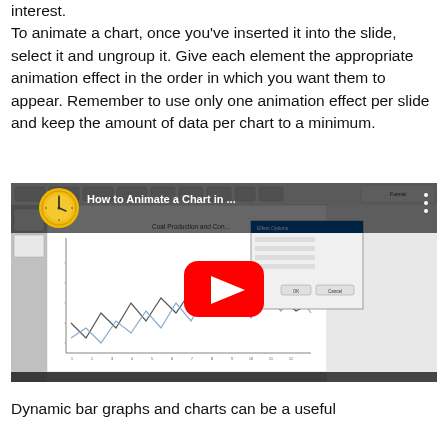interest. To animate a chart, once you've inserted it into the slide, select it and ungroup it. Give each element the appropriate animation effect in the order in which you want them to appear. Remember to use only one animation effect per slide and keep the amount of data per chart to a minimum.
[Figure (screenshot): YouTube video thumbnail showing a PowerPoint tutorial titled 'How to Animate a Chart in ...' with a clock icon, showing a Coal Production line chart in PowerPoint with a dialog box open and the YouTube red play button overlaid in the center.]
Dynamic bar graphs and charts can be a useful